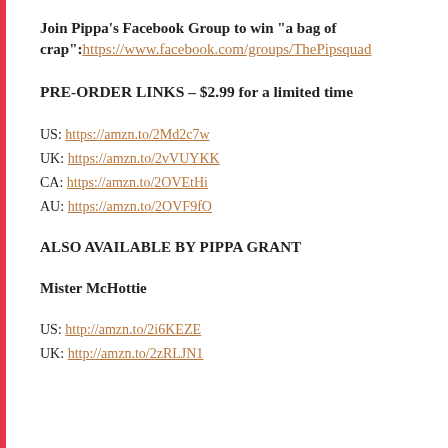Join Pippa’s Facebook Group to win “a bag of crap”: https://www.facebook.com/groups/ThePipsquad
PRE-ORDER LINKS – $2.99 for a limited time
US: https://amzn.to/2Md2c7w
UK: https://amzn.to/2vVUYKK
CA: https://amzn.to/2OVEtHi
AU: https://amzn.to/2OVF9fO
ALSO AVAILABLE BY PIPPA GRANT
Mister McHottie
US: http://amzn.to/2i6KEZE
UK: http://amzn.to/2zRLJN1